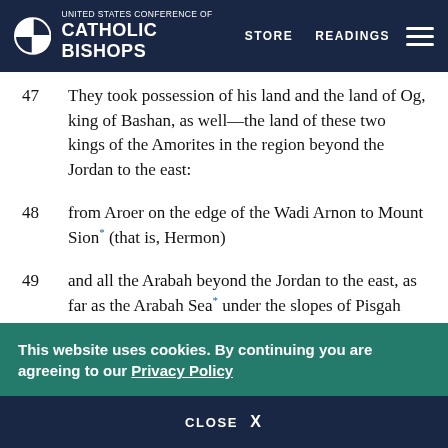UNITED STATES CONFERENCE OF CATHOLIC BISHOPS | STORE | READINGS
47 They took possession of his land and the land of Og, king of Bashan, as well—the land of these two kings of the Amorites in the region beyond the Jordan to the east:
48 from Aroer on the edge of the Wadi Arnon to Mount Sion* (that is, Hermon)
49 and all the Arabah beyond the Jordan to the east, as far as the Arabah Sea* under the slopes of Pisgah
This website uses cookies. By continuing you are agreeing to our Privacy Policy
CLOSE X